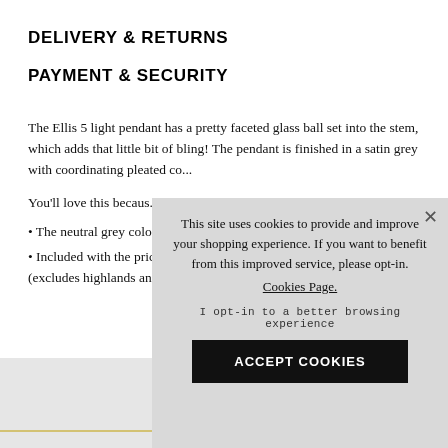DELIVERY & RETURNS
PAYMENT & SECURITY
The Ellis 5 light pendant has a pretty faceted glass ball set into the stem, which adds that little bit of bling! The pendant is finished in a satin grey with coordinating pleated co...
You'll love this becaus...
• The neutral grey colo... blend in with either a tr...
• Included with the pric... (excludes highlands an...
[Figure (screenshot): Cookie consent modal overlay with text: 'This site uses cookies to provide and improve your shopping experience. If you want to benefit from this improved service, please opt-in. Cookies Page. I opt-in to a better browsing experience ACCEPT COOKIES']